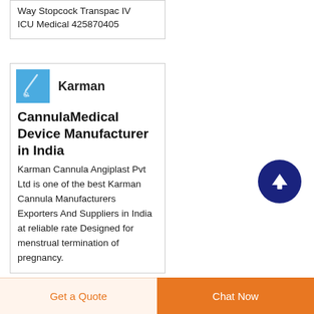Way Stopcock Transpac IV ICU Medical 425870405
Karman CannulaMedical Device Manufacturer in India
[Figure (photo): Blue square image with a medical cannula device on light blue background]
Karman Cannula Angiplast Pvt Ltd is one of the best Karman Cannula Manufacturers Exporters And Suppliers in India at reliable rate Designed for menstrual termination of pregnancy.
[Figure (other): Dark navy blue circle with white upward arrow icon — scroll-to-top button]
Get a Quote
Chat Now